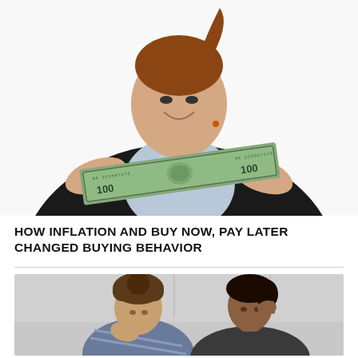[Figure (photo): A smiling woman in a black blazer stretching a $100 US dollar bill with both hands, posing against a white background.]
HOW INFLATION AND BUY NOW, PAY LATER CHANGED BUYING BEHAVIOR
[Figure (photo): A man and woman sitting together looking stressed or concerned, appearing to review financial documents or a laptop. The man wears a plaid shirt and the woman rests her hand on her temple.]